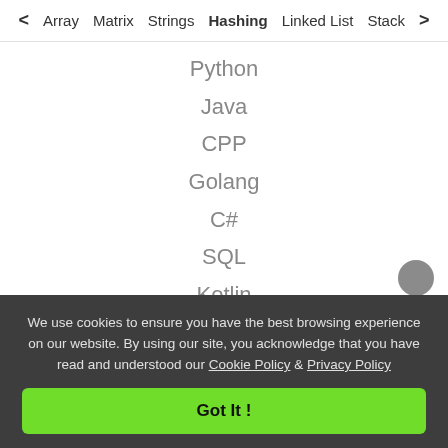< Array  Matrix  Strings  Hashing  Linked List  Stack >
Python
Java
CPP
Golang
C#
SQL
Kotlin
Web Development
We use cookies to ensure you have the best browsing experience on our website. By using our site, you acknowledge that you have read and understood our Cookie Policy & Privacy Policy
Got It !